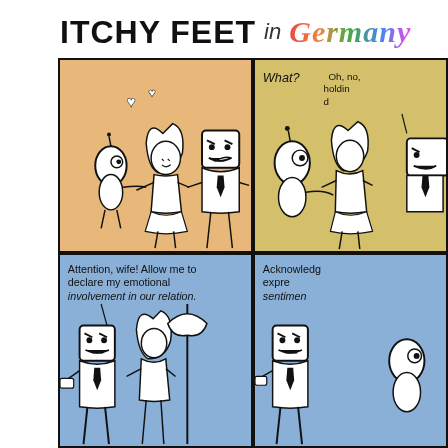ITCHY FEET in Germany
[Figure (illustration): Comic strip panel 1 (top-left): Orange/tan background. Three cartoon characters: small round figure on left looking at a woman with blonde hair in the center, and a stern-looking German man with mustache and tie on the right. Two heart symbols float above. No text.]
[Figure (illustration): Comic strip panel 2 (top-right): Yellow background. Two characters visible, partially cropped. Speech bubble text: 'What?' on left, and 'Oh, no, holding d' (cut off) on right.]
[Figure (illustration): Comic strip panel 3 (bottom-left): Blue background. German man with mustache speaking to woman and another character with umbrella. Text: 'Attention, wife! Allow me to declare my emotional involvement in our relation.']
[Figure (illustration): Comic strip panel 4 (bottom-right): Blue background. Partially visible panel showing German man with mustache, partially cropped. Text: 'Acknowledg expre sentimen' (cut off).]